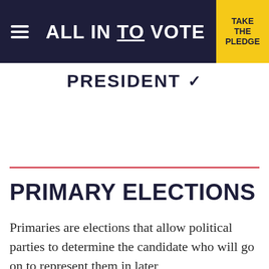ALL IN TO VOTE | TAKE THE PLEDGE
PRESIDENT ∨
PRIMARY ELECTIONS
Primaries are elections that allow political parties to determine the candidate who will go on to represent them in later